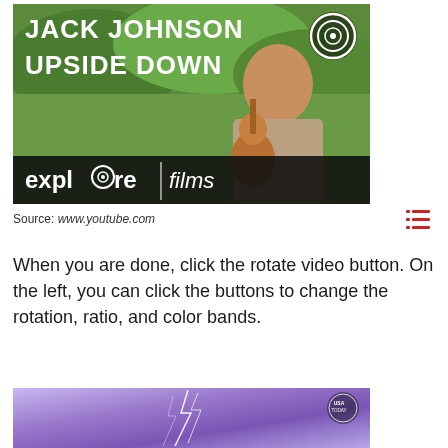[Figure (screenshot): Jack Johnson Upside Down - explore films thumbnail. Shows a man playing guitar outdoors with green background. Text overlay: JACK JOHNSON UPSIDE DOWN. Logo in top right. Bottom bar: explore films.]
Source: www.youtube.com
When you are done, click the rotate video button. On the left, you can click the buttons to change the rotation, ratio, and color bands.
[Figure (screenshot): Second video thumbnail showing a purple/violet lightning or energy burst image with USA TODAY logo in top right corner.]